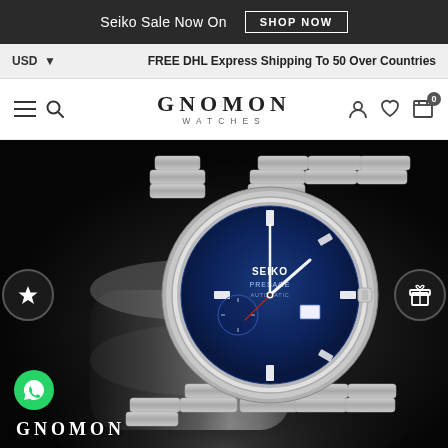Seiko Sale Now On  SHOP NOW
USD  FREE DHL Express Shipping To 50 Over Countries
GNOMON WATCHES
[Figure (photo): A Seiko Presage automatic watch with blue dial and silver stainless steel bracelet photographed on dark background with cylindrical prop. GNOMON watermark at bottom left.]